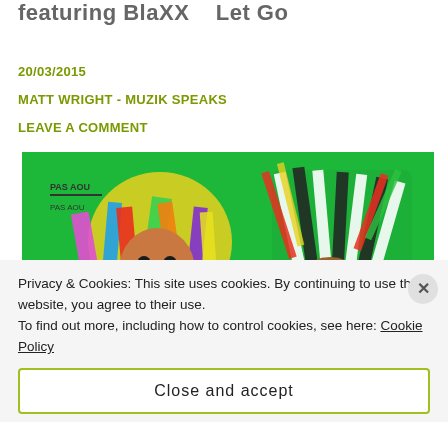featuring BlaXX – Let Go
20/03/2015
MATT WRIGHT - MUZIK SPEAKS
LEAVE A COMMENT
[Figure (photo): Two people wearing elaborate colorful costumes/headdresses made of multicolored fabric strips against a bright green background, with a logo in the upper left corner.]
Privacy & Cookies: This site uses cookies. By continuing to use this website, you agree to their use.
To find out more, including how to control cookies, see here: Cookie Policy
Close and accept